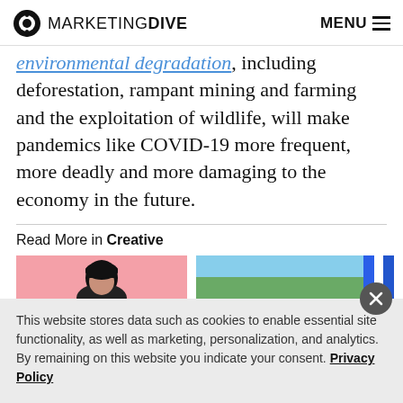MARKETING DIVE  MENU
environmental degradation, including deforestation, rampant mining and farming and the exploitation of wildlife, will make pandemics like COVID-19 more frequent, more deadly and more damaging to the economy in the future.
Read More in Creative
[Figure (photo): Two thumbnail images side by side - left shows a person with pink background, right shows an outdoor scene with trees and sky]
This website stores data such as cookies to enable essential site functionality, as well as marketing, personalization, and analytics. By remaining on this website you indicate your consent. Privacy Policy